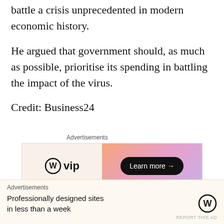battle a crisis unprecedented in modern economic history.
He argued that government should, as much as possible, prioritise its spending in battling the impact of the virus.
Credit: Business24
[Figure (other): WordPress VIP advertisement banner with orange-pink gradient and Learn more button]
(By Nii Annerquaye Abbey)
[Figure (other): WordPress advertisement overlay: Professionally designed sites in less than a week]